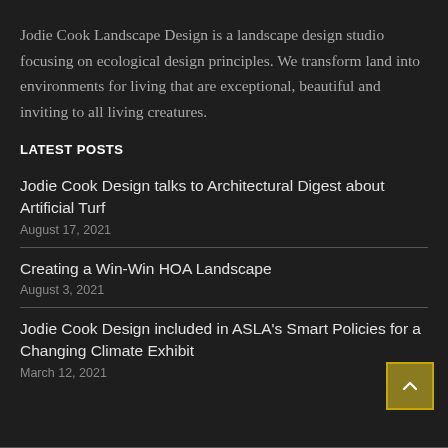Jodie Cook Landscape Design is a landscape design studio focusing on ecological design principles. We transform land into environments for living that are exceptional, beautiful and inviting to all living creatures.
LATEST POSTS
Jodie Cook Design talks to Architectural Digest about Artificial Turf
August 17, 2021
Creating a Win-Win HOA Landscape
August 3, 2021
Jodie Cook Design included in ASLA's Smart Policies for a Changing Climate Exhibit
March 12, 2021